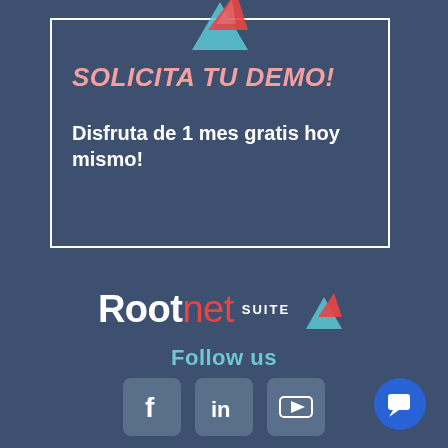[Figure (logo): Rootnet logo triangle (red and light blue) at top of bordered box]
SOLICITA TU DEMO!
Disfruta de 1 mes gratis hoy mismo!
[Figure (logo): Rootnet Suite logo with triangle icon in red and light blue]
Follow us
[Figure (illustration): Social media icons: Facebook, LinkedIn, YouTube in rounded square boxes]